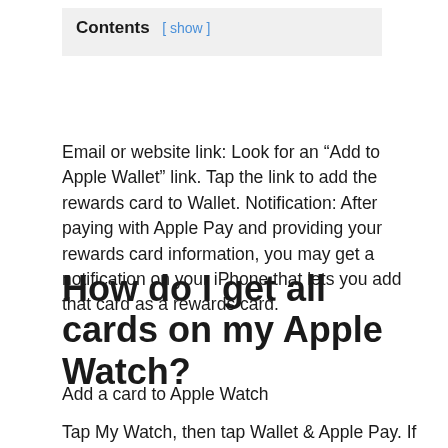Contents [ show ]
Email or website link: Look for an “Add to Apple Wallet” link. Tap the link to add the rewards card to Wallet. Notification: After paying with Apple Pay and providing your rewards card information, you may get a notification on your iPhone that lets you add that card as a rewards card.
How do I get all cards on my Apple Watch?
Add a card to Apple Watch
Tap My Watch, then tap Wallet & Apple Pay. If